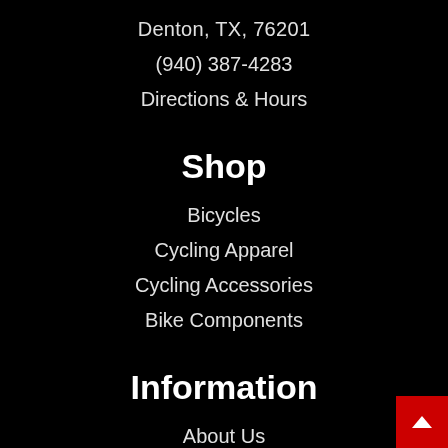Denton, TX, 76201
(940) 387-4283
Directions & Hours
Shop
Bicycles
Cycling Apparel
Cycling Accessories
Bike Components
Information
About Us
Contact Us